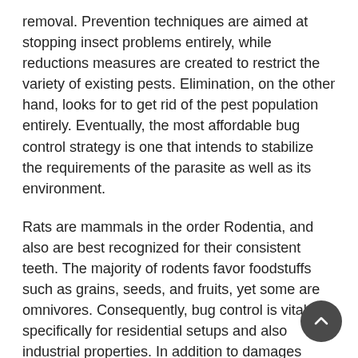removal. Prevention techniques are aimed at stopping insect problems entirely, while reductions measures are created to restrict the variety of existing pests. Elimination, on the other hand, looks for to get rid of the pest population entirely. Eventually, the most affordable bug control strategy is one that intends to stabilize the requirements of the parasite as well as its environment.
Rats are mammals in the order Rodentia, and also are best recognized for their consistent teeth. The majority of rodents favor foodstuffs such as grains, seeds, and fruits, yet some are omnivores. Consequently, bug control is vital, specifically for residential setups and also industrial properties. In addition to damages triggered by rats, these insects can also bring illness, such as typhus and also pester.
Pesticides are extremely unsafe. They can arrive on people and also pets and create serious health issue. Certified pest cont drivers know the proper means to make use of these chemica